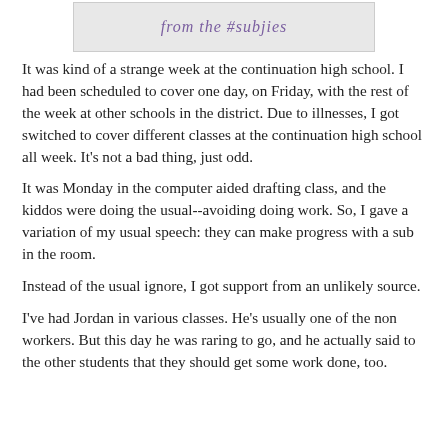[Figure (illustration): Banner image with italic cursive text reading 'from the #subjies' in purple/violet color on a light gray background]
It was kind of a strange week at the continuation high school. I had been scheduled to cover one day, on Friday, with the rest of the week at other schools in the district. Due to illnesses, I got switched to cover different classes at the continuation high school all week. It's not a bad thing, just odd.
It was Monday in the computer aided drafting class, and the kiddos were doing the usual--avoiding doing work. So, I gave a variation of my usual speech: they can make progress with a sub in the room.
Instead of the usual ignore, I got support from an unlikely source.
I've had Jordan in various classes. He's usually one of the non workers. But this day he was raring to go, and he actually said to the other students that they should get some work done, too.